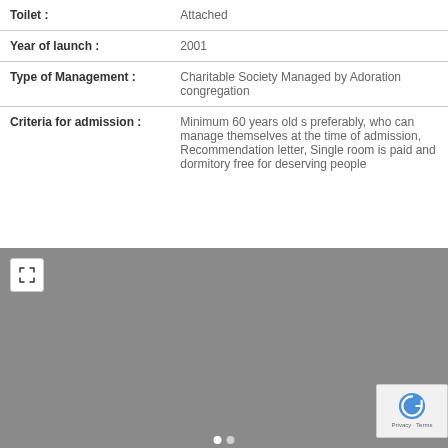| Toilet : | Attached |
| Year of launch : | 2001 |
| Type of Management : | Charitable Society Managed by Adoration congregation |
| Criteria for admission : | Minimum 60 years old s preferably, who can manage themselves at the time of admission, Recommendation letter, Single room is paid and dormitory free for deserving people |
[Figure (photo): A gray image placeholder with an expand/fullscreen button in the top-left corner and carousel navigation dots at the bottom. A reCAPTCHA badge appears in the bottom-right.]